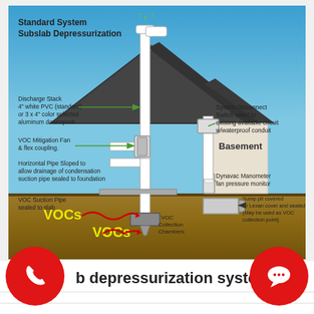[Figure (schematic): Standard System Subslab Depressurization diagram showing a cross-section of a house with a VOC mitigation system. Labeled components include: Discharge Stack (4" white PVC standard or 3x4" color selected aluminum downspout), VOC Mitigation Fan & flex coupling, Horizontal Pipe Sloped to allow drainage of condensation suction pipe sealed to foundation, VOC Suction Pipe sealed to slab, System Disconnect Switch wired to existing available circuit w/waterproof conduit, Basement label, Dynavac Manometer fan pressure monitor, VOC Collection Chambers, VOCs labels in yellow in soil, Sump pit covered w/ Lexan cover and sealed (May be used as VOC collection point). Red circular buttons for phone and chat at bottom.]
b depressurization system